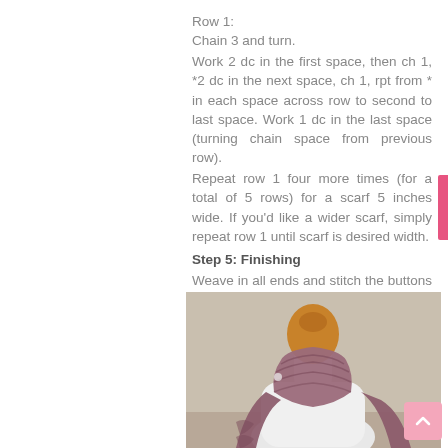Row 1:
Chain 3 and turn.
Work 2 dc in the first space, then ch 1, *2 dc in the next space, ch 1, rpt from * in each space across row to second to last space. Work 1 dc in the last space (turning chain space from previous row).
Repeat row 1 four more times (for a total of 5 rows) for a scarf 5 inches wide. If you'd like a wider scarf, simply repeat row 1 until scarf is desired width.
Step 5: Finishing
Weave in all ends and stitch the buttons to one end of the scarf.
[Figure (photo): A mauve/dusty rose crocheted scarf wrapped around a white mannequin dress form with a wooden head, displayed against a neutral background.]